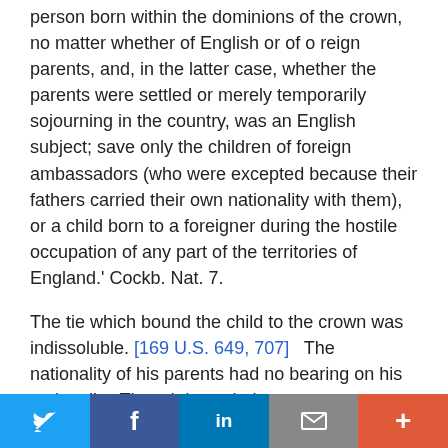person born within the dominions of the crown, no matter whether of English or of o reign parents, and, in the latter case, whether the parents were settled or merely temporarily sojourning in the country, was an English subject; save only the children of foreign ambassadors (who were excepted because their fathers carried their own nationality with them), or a child born to a foreigner during the hostile occupation of any part of the territories of England.' Cockb. Nat. 7.
The tie which bound the child to the crown was indissoluble. [169 U.S. 649, 707] The nationality of his parents had no bearing on his nationality. Though born during a temporary stay of a few days, the child was irretrievably a British subject. Hall, Foreign Jur. 15.
The rule was the outcome of the connection in feudalism
Twitter Facebook LinkedIn Email +